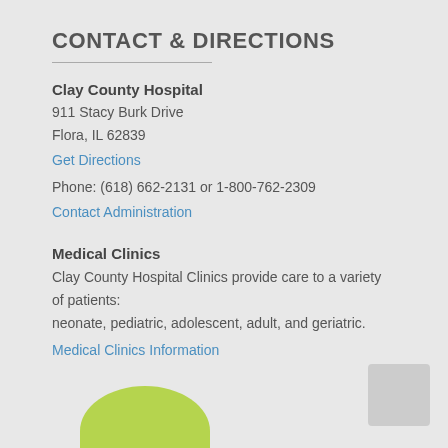CONTACT & DIRECTIONS
Clay County Hospital
911 Stacy Burk Drive
Flora, IL 62839
Get Directions
Phone: (618) 662-2131 or 1-800-762-2309
Contact Administration
Medical Clinics
Clay County Hospital Clinics provide care to a variety of patients:
neonate, pediatric, adolescent, adult, and geriatric.
Medical Clinics Information